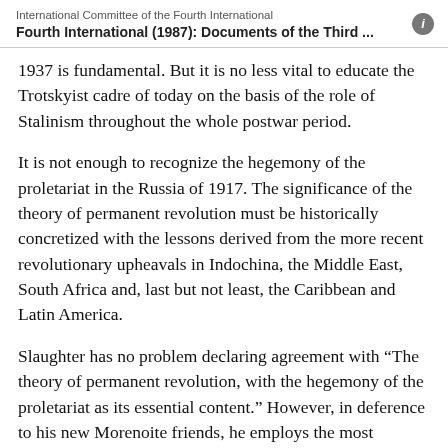International Committee of the Fourth International
Fourth International (1987): Documents of the Third ...
1937 is fundamental. But it is no less vital to educate the Trotskyist cadre of today on the basis of the role of Stalinism throughout the whole postwar period.
It is not enough to recognize the hegemony of the proletariat in the Russia of 1917. The significance of the theory of permanent revolution must be historically concretized with the lessons derived from the more recent revolutionary upheavals in Indochina, the Middle East, South Africa and, last but not least, the Caribbean and Latin America.
Slaughter has no problem declaring agreement with “The theory of permanent revolution, with the hegemony of the proletariat as its essential content.” However, in deference to his new Morenoite friends, he employs the most sublime formulations, so that the agreement...